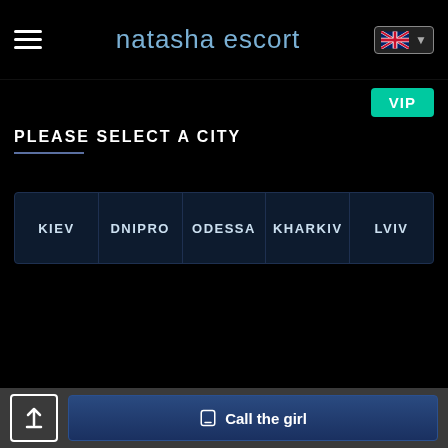natasha escort
VIP
PLEASE SELECT A CITY
| KIEV | DNIPRO | ODESSA | KHARKIV | LVIV |
| --- | --- | --- | --- | --- |
Call the girl